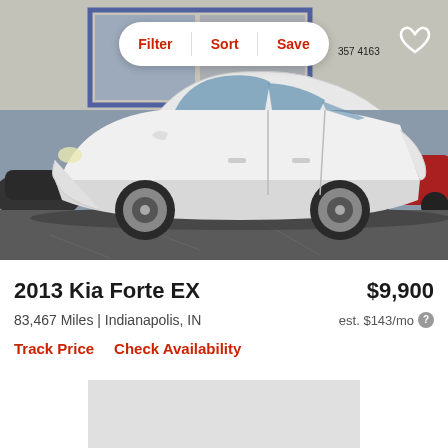[Figure (photo): White 2013 Kia Forte EX sedan photographed from the side at a car dealership lot. A blue-framed building is visible in the background. A red car is partially visible on the right side. The car is parked on an asphalt lot.]
Filter  Sort  Save
2013 Kia Forte EX
$9,900
83,467 Miles | Indianapolis, IN
est. $143/mo
Track Price   Check Availability